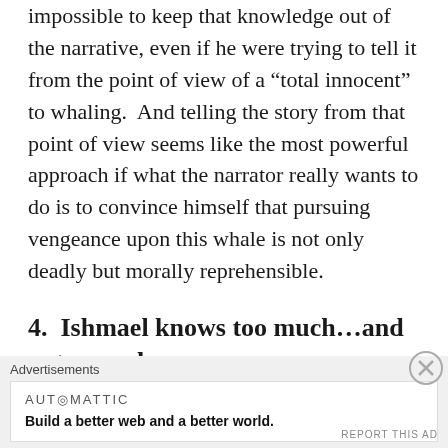impossible to keep that knowledge out of the narrative, even if he were trying to tell it from the point of view of a “total innocent” to whaling.  And telling the story from that point of view seems like the most powerful approach if what the narrator really wants to do is to convince himself that pursuing vengeance upon this whale is not only deadly but morally reprehensible.
4.  Ishmael knows too much…and not enough
Advertisements
[Figure (other): Automattic advertisement banner: logo text 'AUTOMATTIC' and tagline 'Build a better web and a better world.']